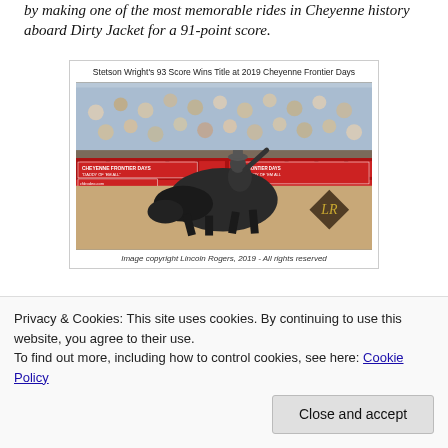by making one of the most memorable rides in Cheyenne history aboard Dirty Jacket for a 91-point score.
[Figure (photo): Rodeo bull riding photo from 2019 Cheyenne Frontier Days showing a cowboy riding a bull in front of a large crowd, with signs reading 'Cheyenne Frontier Days', 'Daddy of Em All', and 'cfdrodeo.com'. An LR logo watermark is visible.]
Stetson Wright's 93 Score Wins Title at 2019 Cheyenne Frontier Days
Image copyright Lincoln Rogers, 2019 - All rights reserved
Utah cowboy Stetson Wright brought the house down with this near record 93-point ride aboard a bull
Privacy & Cookies: This site uses cookies. By continuing to use this website, you agree to their use.
To find out more, including how to control cookies, see here: Cookie Policy